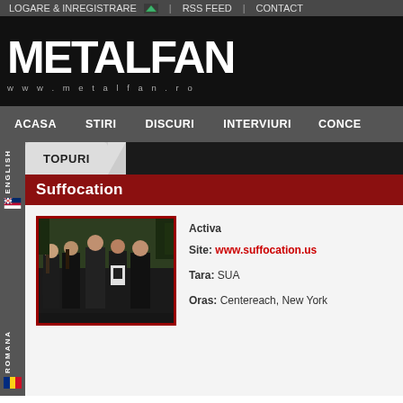LOGARE & INREGISTRARE | RSS FEED | CONTACT
[Figure (logo): METALFAN logo with www.metalfan.ro below]
ACASA  STIRI  DISCURI  INTERVIURI  CONCE
TOPURI
Suffocation
[Figure (photo): Band photo of Suffocation — five members standing outdoors in a forest/wooded setting, wearing dark metal band shirts]
Activa
Site: www.suffocation.us
Tara: SUA
Oras: Centereach, New York